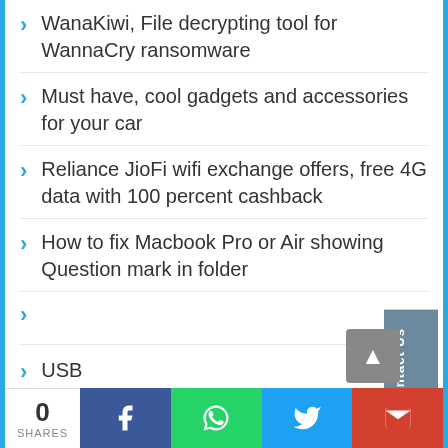WanaKiwi, File decrypting tool for WannaCry ransomware
Must have, cool gadgets and accessories for your car
Reliance JioFi wifi exchange offers, free 4G data with 100 percent cashback
How to fix Macbook Pro or Air showing Question mark in folder
USB
30 days with Redmi Note 4 Matte Black, 4GB edition, MIUI detailed review
How to fix, reset, unlock Apple Ipod touch
0
SHARES